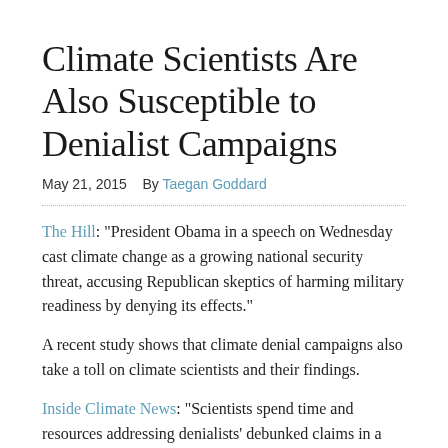Climate Scientists Are Also Susceptible to Denialist Campaigns
May 21, 2015    By Taegan Goddard
The Hill: “President Obama in a speech on Wednesday cast climate change as a growing national security threat, accusing Republican skeptics of harming military readiness by denying its effects.”
A recent study shows that climate denial campaigns also take a toll on climate scientists and their findings.
Inside Climate News: “Scientists spend time and resources addressing denialists’ debunked claims in a way the…